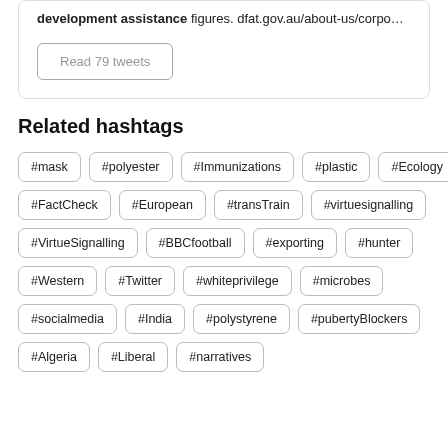development assistance figures. dfat.gov.au/about-us/corpo…
Read 79 tweets
Related hashtags
#mask
#polyester
#Immunizations
#plastic
#Ecology
#FactCheck
#European
#transTrain
#virtuesignalling
#VirtueSignalling
#BBCfootball
#exporting
#hunter
#Western
#Twitter
#whiteprivilege
#microbes
#socialmedia
#India
#polystyrene
#pubertyBlockers
#Algeria
#Liberal
#narratives